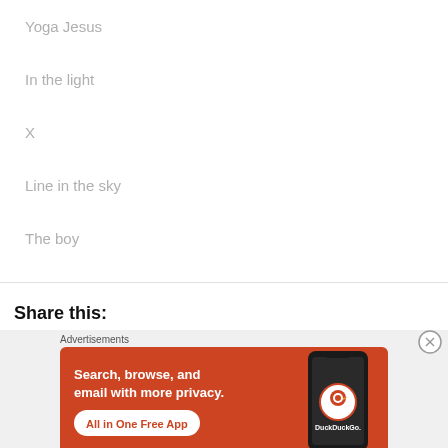Yoga Jesus
In the light
X
Line in the sky
The boy
Share this:
Advertisements
[Figure (illustration): DuckDuckGo advertisement banner with orange background showing text 'Search, browse, and email with more privacy. All in One Free App' alongside a smartphone displaying the DuckDuckGo logo]